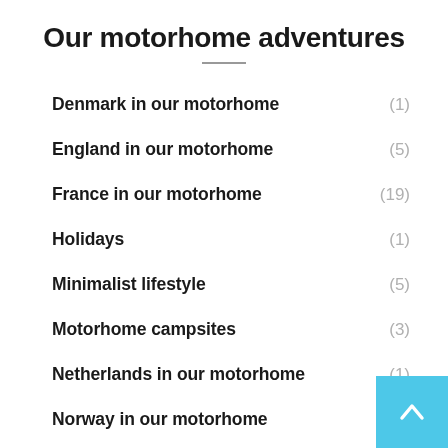Our motorhome adventures
Denmark in our motorhome (1)
England in our motorhome (5)
France in our motorhome (19)
Holidays (1)
Minimalist lifestyle (5)
Motorhome campsites (3)
Netherlands in our motorhome (1)
Norway in our motorhome (12)
Our motorhome